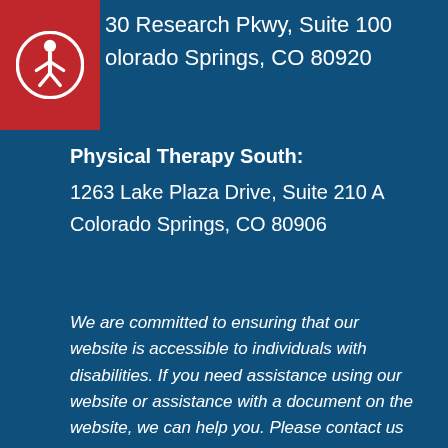30 Research Pkwy, Suite 100
olorado Springs, CO 80920
Physical Therapy South:
1263 Lake Plaza Drive, Suite 210 A
Colorado Springs, CO 80906
We are committed to ensuring that our website is accessible to individuals with disabilities. If you need assistance using our website or assistance with a document on the website, we can help you. Please contact us by emailing ada@ccoe.us  for any questions or concerns.